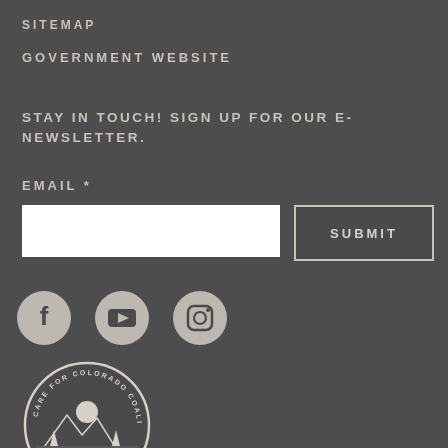SITEMAP
GOVERNMENT WEBSITE
STAY IN TOUCH! SIGN UP FOR OUR E-NEWSLETTER.
EMAIL *
[Figure (other): Email input field (white box) and a SUBMIT button with dark background and border]
[Figure (other): Three social media icons in circles: Facebook, YouTube, Instagram]
[Figure (logo): Care for Colorado Coalition circular badge logo with mountains and sun]